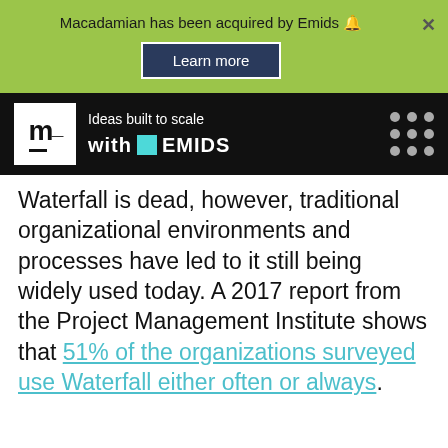Macadamian has been acquired by Emids 🔔
Learn more
[Figure (logo): Emids logo with 'm' lettermark and tagline 'Ideas built to scale with EMIDS' on black background, with dot grid on the right]
Waterfall is dead, however, traditional organizational environments and processes have led to it still being widely used today. A 2017 report from the Project Management Institute shows that 51% of the organizations surveyed use Waterfall either often or always.